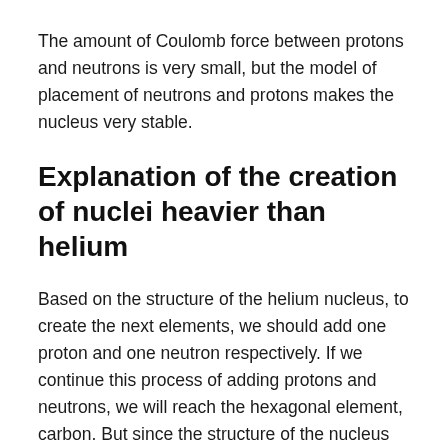The amount of Coulomb force between protons and neutrons is very small, but the model of placement of neutrons and protons makes the nucleus very stable.
Explanation of the creation of nuclei heavier than helium
Based on the structure of the helium nucleus, to create the next elements, we should add one proton and one neutron respectively. If we continue this process of adding protons and neutrons, we will reach the hexagonal element, carbon. But since the structure of the nucleus must be a dense, continuous, steady, compact and stable structure, this process cannot be continued. Therefore, the carbon structure with 6 protons and 6 neutrons is the basis of heavier elements and the process of adding a proton and a